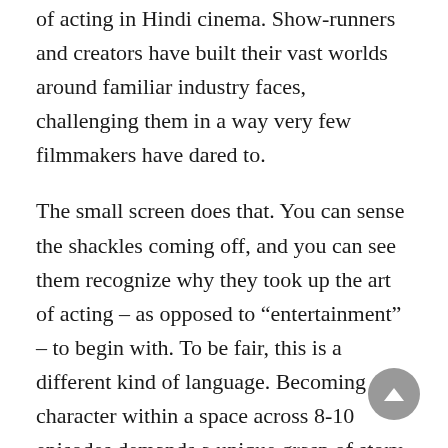of acting in Hindi cinema. Show-runners and creators have built their vast worlds around familiar industry faces, challenging them in a way very few filmmakers have dared to.
The small screen does that. You can sense the shackles coming off, and you can see them recognize why they took up the art of acting – as opposed to "entertainment" – to begin with. To be fair, this is a different kind of language. Becoming a character within a space across 8-10 episodes demands a unique grasp of story-making – one where the performers must outlive the plot rather than inhabit it. ODI cricket might have all the prestigious tournaments and titles, but it's long-format Test cricket, after all, that holds the halos of prestige and